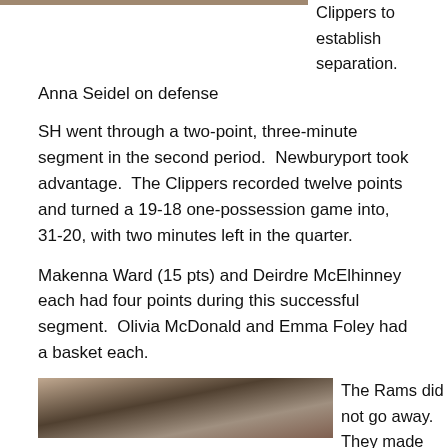[Figure (photo): Top portion of a basketball action photo, cropped at top of page]
Anna Seidel on defense
Clippers to establish separation.
SH went through a two-point, three-minute segment in the second period.  Newburyport took advantage.  The Clippers recorded twelve points and turned a 19-18 one-possession game into, 31-20, with two minutes left in the quarter.
Makenna Ward (15 pts) and Deirdre McElhinney each had four points during this successful segment.  Olivia McDonald and Emma Foley had a basket each.
[Figure (photo): Basketball game photo showing players on court with referee and crowd in background]
The Rams did not go away.  They made the first t